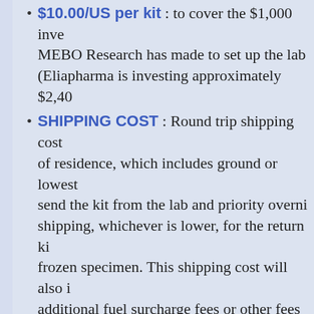$10.00/US per kit : to cover the $1,000 inve... MEBO Research has made to set up the lab... (Eliapharma is investing approximately $2,40...
SHIPPING COST : Round trip shipping cost ... of residence, which includes ground or lowest... send the kit from the lab and priority overni... shipping, whichever is lower, for the return ki... frozen specimen. This shipping cost will also i... additional fuel surcharge fees or other fees ... FedEx.
Anyone interested in participating in this TMAU p... and contributing to future research, while we com... privacy of your identity, please express interest w... tmautest@meboresearch.org